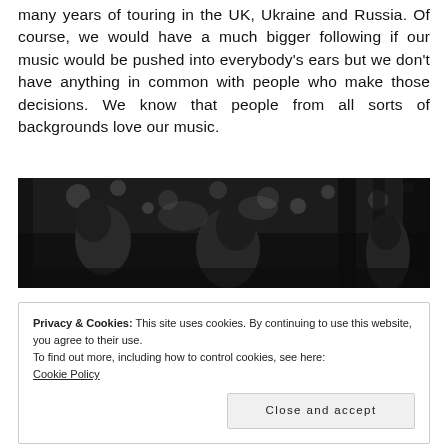many years of touring in the UK, Ukraine and Russia. Of course, we would have a much bigger following if our music would be pushed into everybody's ears but we don't have anything in common with people who make those decisions. We know that people from all sorts of backgrounds love our music.
[Figure (photo): Black and white photograph of people looking upward, outdoors with trees in background]
Privacy & Cookies: This site uses cookies. By continuing to use this website, you agree to their use.
To find out more, including how to control cookies, see here:
Cookie Policy
Close and accept